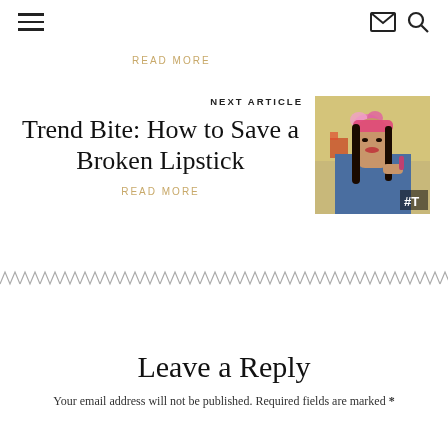≡  ✉  🔍
READ MORE
NEXT ARTICLE
Trend Bite: How to Save a Broken Lipstick
[Figure (photo): Woman with pink headband holding flowers and lipstick, with #T hashtag overlay in corner]
READ MORE
Leave a Reply
Your email address will not be published. Required fields are marked *